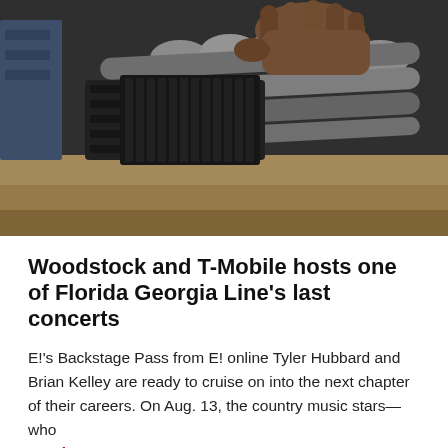[Figure (photo): Close-up photo of a hand gripping what appears to be industrial metal equipment or machine parts, with cylindrical metal components visible.]
Woodstock and T-Mobile hosts one of Florida Georgia Line's last concerts
E!'s Backstage Pass from E! online Tyler Hubbard and Brian Kelley are ready to cruise on into the next chapter of their careers. On Aug. 13, the country music stars—who
Read More...